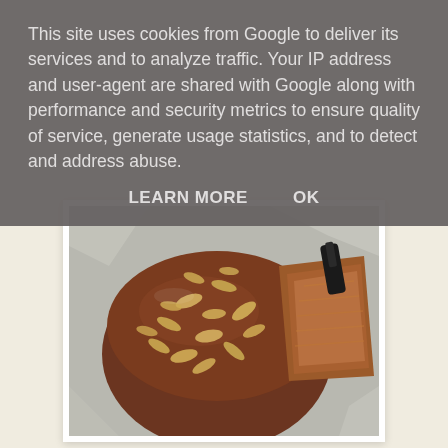This site uses cookies from Google to deliver its services and to analyze traffic. Your IP address and user-agent are shared with Google along with performance and security metrics to ensure quality of service, generate usage statistics, and to detect and address abuse.
LEARN MORE    OK
[Figure (photo): A chocolate cake with sliced almonds on top, sitting on aluminum foil. A slice has been cut and partially removed, revealing the interior of the cake.]
So I've been onsite for a few days for work and was really looking forward to eating decent food when I got home, even though I did not too bad in the hotel for food.